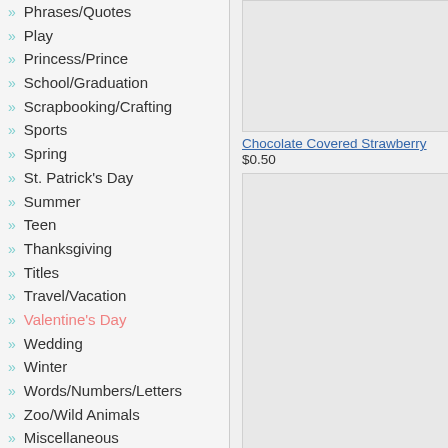Phrases/Quotes
Play
Princess/Prince
School/Graduation
Scrapbooking/Crafting
Sports
Spring
St. Patrick's Day
Summer
Teen
Thanksgiving
Titles
Travel/Vacation
Valentine's Day
Wedding
Winter
Words/Numbers/Letters
Zoo/Wild Animals
Miscellaneous
Chocolate Covered Strawberry
$0.50
Valentine Sugar Cookie Set
$0.50